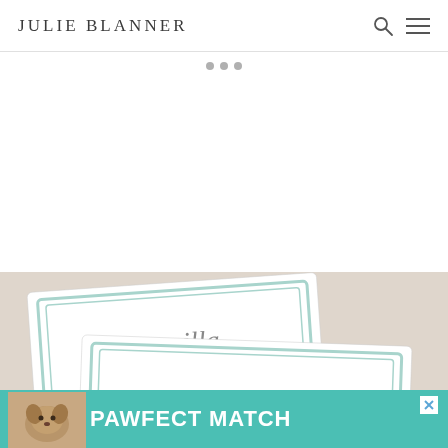JULIE BLANNER
[Figure (screenshot): White content area with three gray pagination dots]
[Figure (photo): Two white place cards with light teal border on a beige background. The top card reads 'vanilla' in gray script, and the lower card reads 'cocoa' in gray serif text.]
[Figure (infographic): Advertisement banner with dog photo and text: PAWFECT MATCH on teal background with a close button]